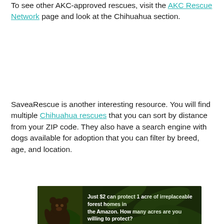To see other AKC-approved rescues, visit the AKC Rescue Network page and look at the Chihuahua section.
SaveaRescue is another interesting resource. You will find multiple Chihuahua rescues that you can sort by distance from your ZIP code. They also have a search engine with dogs available for adoption that you can filter by breed, age, and location.
[Figure (illustration): Advertisement banner with dark green forest background. Shows animal (bear/sloth) on left side. Text reads: 'Just $2 can protect 1 acre of irreplaceable forest homes in the Amazon. How many acres are you willing to protect?' with a green 'PROTECT FORESTS NOW' button.]